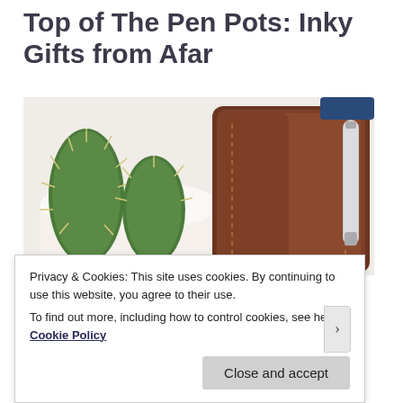Top of The Pen Pots: Inky Gifts from Afar
[Figure (photo): Overhead photo showing a cactus in a white pot on the left, a brown leather pen case with stitching in the center-right, and a fountain pen resting on the case, on a white surface.]
I've been more blessed than the Pope this week. I've received 'thanks for being a fab interviewee' gifts from
Privacy & Cookies: This site uses cookies. By continuing to use this website, you agree to their use.
To find out more, including how to control cookies, see here: Cookie Policy